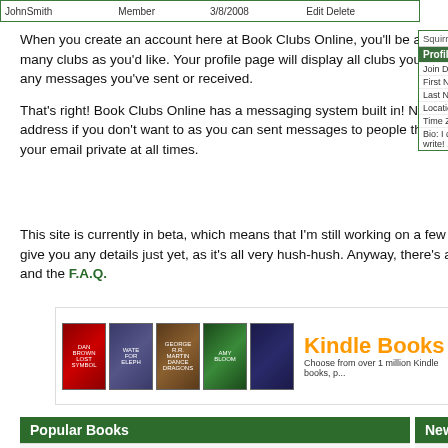[Figure (screenshot): Top table row showing JohnSmith, Member, 3/8/2008, Edit Delete links inside a green-bordered table]
When you create an account here at Book Clubs Online, you'll be able to create and join as many clubs as you'd like. Your profile page will display all clubs you are a member of as well as any messages you've sent or received.
[Figure (screenshot): Sidebar profile box showing Squirrelinable username, Profile section with Join Date, First Name, Last Name, Location, Time Zone, Bio fields]
That's right! Book Clubs Online has a messaging system built in! No need to give out your email address if you don't want to as you can sent messages to people through the website, keeping your email private at all times.
This site is currently in beta, which means that I'm still working on a few features that I can't give you any details just yet, as it's all very hush-hush. Anyway, there's a lot more on the about page and the F.A.Q.
[Figure (screenshot): Kindle Books advertisement banner showing 5 book covers and orange Kindle Books text with tagline Choose from over 1 million Kindle books]
| Popular Books |
| --- |
| Twilight (The Twilight Saga, Book 1) |
| The Hunger Games |
| New Moon (The Twilight Saga, Book 2) |
| New Bo... |
| --- |
| Cartier R... |
| Réplica d... |
| Opbevar... |